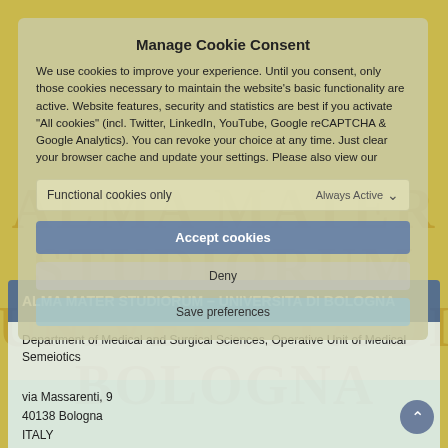[Figure (logo): Alma Mater Studiorum Università di Bologna watermark/seal with golden text in background]
Manage Cookie Consent
We use cookies to improve your experience. Until you consent, only those cookies necessary to maintain the website's basic functionality are active. Website features, security and statistics are best if you activate "All cookies" (incl. Twitter, LinkedIn, YouTube, Google reCAPTCHA & Google Analytics). You can revoke your choice at any time. Just clear your browser cache and update your settings. Please also view our
Functional cookies only
Always Active
Accept cookies
Deny
Save preferences
ALMA MATER STUDIORUM – UNIVERSITA DI BOLOGNA
Department of Medical and Surgical Sciences, Operative Unit of Medical Semeiotics
via Massarenti, 9
40138 Bologna
ITALY
Visit website  Cookie Policy  Privacy Statement
Visit website